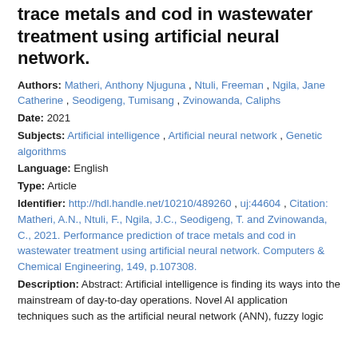trace metals and cod in wastewater treatment using artificial neural network.
Authors: Matheri, Anthony Njuguna , Ntuli, Freeman , Ngila, Jane Catherine , Seodigeng, Tumisang , Zvinowanda, Caliphs
Date: 2021
Subjects: Artificial intelligence , Artificial neural network , Genetic algorithms
Language: English
Type: Article
Identifier: http://hdl.handle.net/10210/489260 , uj:44604 , Citation: Matheri, A.N., Ntuli, F., Ngila, J.C., Seodigeng, T. and Zvinowanda, C., 2021. Performance prediction of trace metals and cod in wastewater treatment using artificial neural network. Computers & Chemical Engineering, 149, p.107308.
Description: Abstract: Artificial intelligence is finding its ways into the mainstream of day-to-day operations. Novel AI application techniques such as the artificial neural network (ANN), fuzzy logic